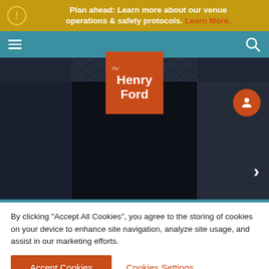Plan ahead: Learn more about our venue operations & safety protocols. Learn More.
[Figure (screenshot): The Henry Ford museum website navigation bar with logo, hamburger menu, and search icon on teal background]
[Figure (photo): Dark hero image area with user profile circle icon and next arrow on right side]
By clicking "Accept All Cookies", you agree to the storing of cookies on your device to enhance site navigation, analyze site usage, and assist in our marketing efforts.
Accept Cookies    Cookies Settings